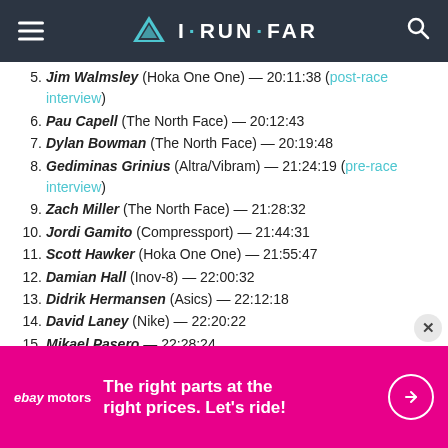I·RUN·FAR
5. Jim Walmsley (Hoka One One) — 20:11:38 (post-race interview)
6. Pau Capell (The North Face) — 20:12:43
7. Dylan Bowman (The North Face) — 20:19:48
8. Gediminas Grinius (Altra/Vibram) — 21:24:19 (pre-race interview)
9. Zach Miller (The North Face) — 21:28:32
10. Jordi Gamito (Compressport) — 21:44:31
11. Scott Hawker (Hoka One One) — 21:55:47
12. Damian Hall (Inov-8) — 22:00:32
13. Didrik Hermansen (Asics) — 22:12:18
14. David Laney (Nike) — 22:20:22
15. Mikael Pasero — 22:28:24
16. Andy Symonds (Scott) — 22:36:32
17. Julian Charier (Hoka One One) — 22:42:13
[Figure (screenshot): eBay Motors advertisement banner: 'The right parts at the right prices. Let's ride!']